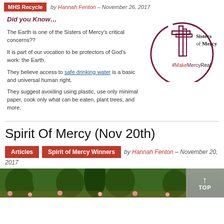MHS Recycle  by Hannah Fenton – November 26, 2017
Did you Know…
The Earth is one of the Sisters of Mercy's critical concerns??
It is part of our vocation to be protectors of God's work: the Earth.
They believe access to safe drinking water is a basic and universal human right.
They suggest avoiding using plastic, use only minimal paper, cook only what can be eaten, plant trees, and more.
[Figure (logo): Sisters of Mercy logo with cross and circle, tagline #MakeMercyReal]
Spirit Of Mercy (Nov 20th)
Articles  Spirit of Mercy Winners  by Hannah Fenton – November 20, 2017
[Figure (photo): Outdoor nature/garden scene with trees and plants at bottom of page]